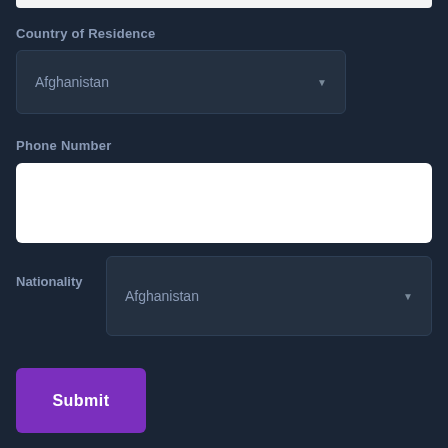[Figure (screenshot): Partial white input bar visible at top of page, cut off]
Country of Residence
[Figure (screenshot): Dropdown select box showing 'Afghanistan' with dropdown arrow, dark background]
Phone Number
[Figure (screenshot): White text input field for phone number]
Nationality
[Figure (screenshot): Dropdown select box showing 'Afghanistan' with dropdown arrow for nationality, dark background]
[Figure (screenshot): Purple Submit button]